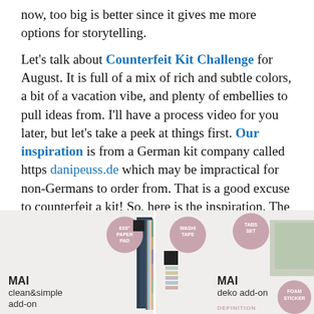now, too big is better since it gives me more options for storytelling.
Let's talk about Counterfeit Kit Challenge for August. It is full of a mix of rich and subtle colors, a bit of a vacation vibe, and plenty of embellies to pull ideas from. I'll have a process video for you later, but let's take a peek at things first. Our inspiration is from a German kit company called https danipeuss.de which may be impractical for non-Germans to order from. That is a good excuse to counterfeit a kit! So, here is the inspiration. The first three images are of the various add-ons and the final three images show the main kit.
[Figure (photo): Two product images from danipeuss.de showing kit add-ons. Left: MAI clean&simple add-on with a 6x6 paper pad badge and colorful paper stack. Right: MAI deko add-on with washi tape and tabs set badges, decorative papers, foam sticker badge.]